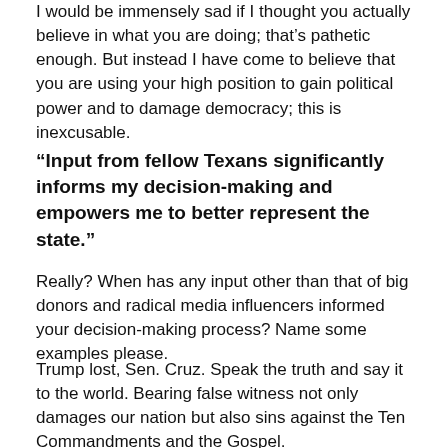I would be immensely sad if I thought you actually believe in what you are doing; that's pathetic enough. But instead I have come to believe that you are using your high position to gain political power and to damage democracy; this is inexcusable.
“Input from fellow Texans significantly informs my decision-making and empowers me to better represent the state.”
Really? When has any input other than that of big donors and radical media influencers informed your decision-making process? Name some examples please.
Trump lost, Sen. Cruz. Speak the truth and say it to the world. Bearing false witness not only damages our nation but also sins against the Ten Commandments and the Gospel.